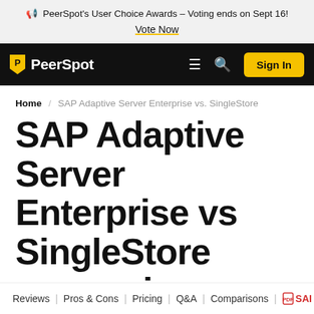PeerSpot's User Choice Awards – Voting ends on Sept 16! Vote Now
PeerSpot | Sign In
Home / SAP Adaptive Server Enterprise vs. SingleStore
SAP Adaptive Server Enterprise vs SingleStore comparison
Reviews | Pros & Cons | Pricing | Q&A | Comparisons | SAI